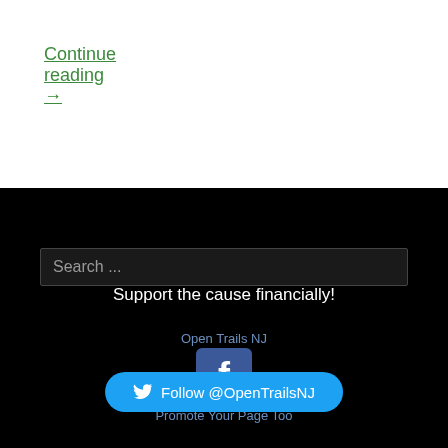Continue reading →
Search ...
Support the cause financially!
Open Trails NJ
[Figure (logo): Facebook logo icon — blue square with white f letter]
Promote Your Page Too
Follow @OpenTrailsNJ